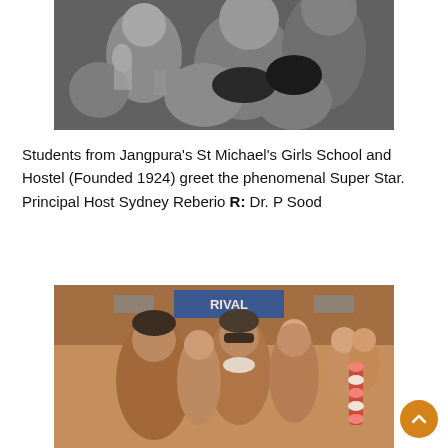[Figure (photo): Black and white photograph of students from Jangpura's St Michael's Girls School, crowded together, some with hands raised.]
Students from Jangpura's St Michael's Girls School and Hostel (Founded 1924) greet the phenomenal Super Star. Principal Host Sydney Reberio R: Dr. P Sood
[Figure (photo): Color photograph of people at an arrival area (sign reads ARRIVAL in background), showing a man with sunglasses being greeted with garlands, surrounded by smiling people.]